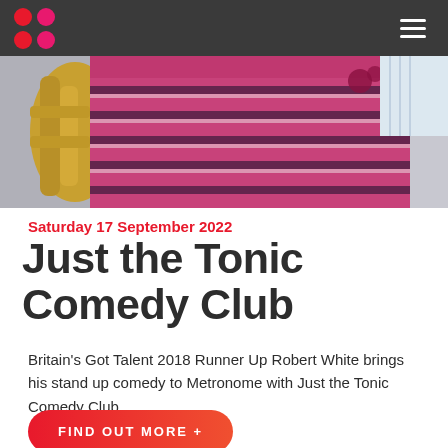Navigation header with logo dots and hamburger menu
[Figure (photo): Close-up photo of a person wearing a pink/magenta and black patterned knitted sweater vest, holding a brass musical instrument (tuba or similar)]
Saturday 17 September 2022
Just the Tonic Comedy Club
Britain's Got Talent 2018 Runner Up Robert White brings his stand up comedy to Metronome with Just the Tonic Comedy Club.
FIND OUT MORE +